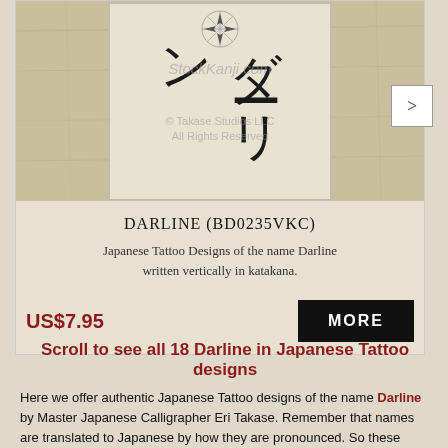[Figure (illustration): Japanese tattoo design showing the name Darline written vertically in katakana characters on a textured beige paper background, with StockKanji.com watermark and copyright notice by Takase Studios LLC]
DARLINE (BD0235VKC)
Japanese Tattoo Designs of the name Darline written vertically in katakana.
US$7.95
MORE
Scroll to see all 18 Darline in Japanese Tattoo designs
Here we offer authentic Japanese Tattoo designs of the name Darline by Master Japanese Calligrapher Eri Takase. Remember that names are translated to Japanese by how they are pronounced. So these Japanese Tattoo designs of Darline are only correct for you if